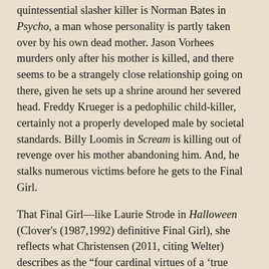quintessential slasher killer is Norman Bates in Psycho, a man whose personality is partly taken over by his own dead mother. Jason Vorhees murders only after his mother is killed, and there seems to be a strangely close relationship going on there, given he sets up a shrine around her severed head. Freddy Krueger is a pedophilic child-killer, certainly not a properly developed male by societal standards. Billy Loomis in Scream is killing out of revenge over his mother abandoning him. And, he stalks numerous victims before he gets to the Final Girl.
That Final Girl—like Laurie Strode in Halloween (Clover's (1987,1992) definitive Final Girl), she reflects what Christensen (2011, citing Welter) describes as the "four cardinal virtues of a 'true woman' ... purity, piety, submissiveness, and domesticity" (p. 29). Sidney Prescott tries for the first, skips right past the second, way past the third and we barely see enough to comment on the fourth, except it may be worth mentioning that the climax to Scream —with the revelation of the killers' identities—takes place in the kitchen at Stu's house. In generally sexist terms, the kitchen is one of the most domestic (read: feminine) parts of the house. And, Laurie Strode, remember, makes her money